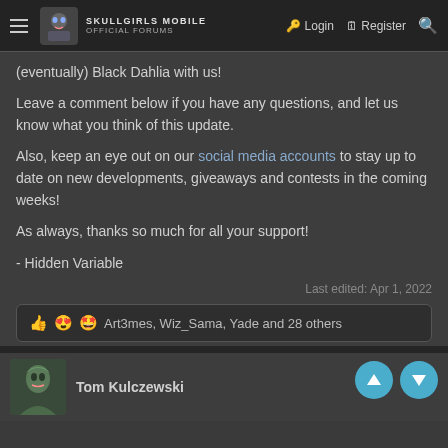Skullgirls Mobile Official Forums — Log in  Register
(eventually) Black Dahlia with us!
Leave a comment below if you have any questions, and let us know what you think of this update.
Also, keep an eye out on our social media accounts to stay up to date on new developments, giveaways and contests in the coming weeks!
As always, thanks so much for all your support!
- Hidden Variable
Last edited: Apr 1, 2022
Art3mes, Wiz_Sama, Yade and 28 others
Tom Kulczewski